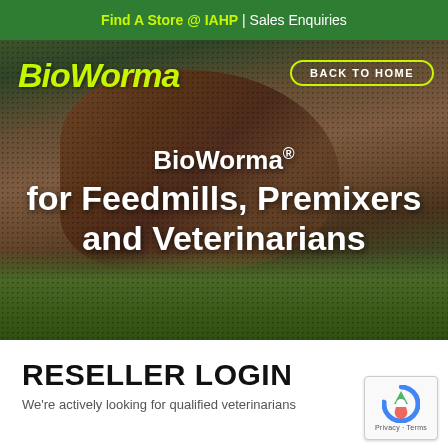Find A Store @ IAHP | Sales Enquiries
[Figure (screenshot): Hero image of a horse grazing in green grass, with BioWorma logo top-left, Back to Home button top-right, and text overlay reading 'BioWorma® for Feedmills, Premixers and Veterinarians']
RESELLER LOGIN
We're actively looking for qualified veterinarians